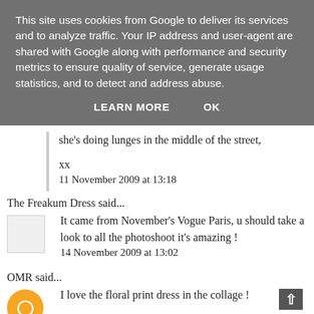This site uses cookies from Google to deliver its services and to analyze traffic. Your IP address and user-agent are shared with Google along with performance and security metrics to ensure quality of service, generate usage statistics, and to detect and address abuse.
LEARN MORE   OK
she's doing lunges in the middle of the street,
xx
11 November 2009 at 13:18
The Freakum Dress said...
It came from November's Vogue Paris, u should take a look to all the photoshoot it's amazing !
14 November 2009 at 13:02
OMR said...
I love the floral print dress in the collage !
http://www.xtraorbit.com/1366.html
19 March 2012 at 21:16